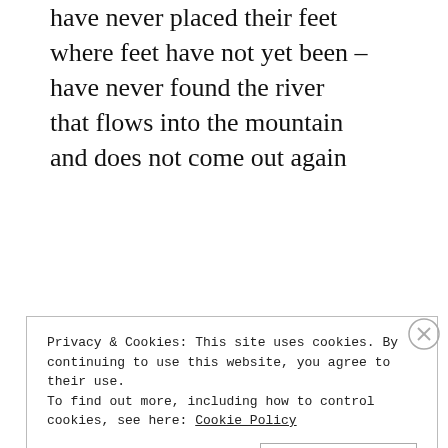have never placed their feet where feet have not yet been – have never found the river that flows into the mountain and does not come out again
© Sarah Whiteley
My newest chapbook Wandering Wonderful is now available for pre-order from Finishing Line Press. Pre-orders through March 22nd will have an opportunity to win a canvas print of the cover
Privacy & Cookies: This site uses cookies. By continuing to use this website, you agree to their use. To find out more, including how to control cookies, see here: Cookie Policy
Close and accept